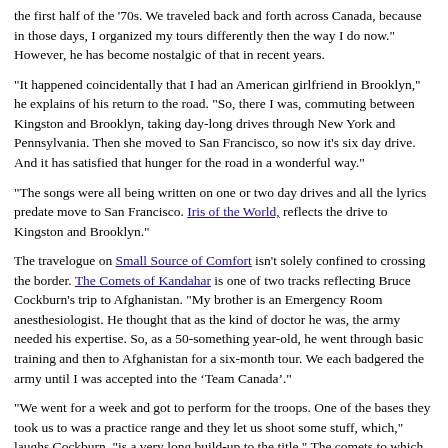the first half of the '70s. We traveled back and forth across Canada, because in those days, I organized my tours differently then the way I do now." However, he has become nostalgic of that in recent years.
"It happened coincidentally that I had an American girlfriend in Brooklyn," he explains of his return to the road. "So, there I was, commuting between Kingston and Brooklyn, taking day-long drives through New York and Pennsylvania. Then she moved to San Francisco, so now it's six day drive. And it has satisfied that hunger for the road in a wonderful way."
"The songs were all being written on one or two day drives and all the lyrics predate move to San Francisco. Iris of the World, reflects the drive to Kingston and Brooklyn."
The travelogue on Small Source of Comfort isn't solely confined to crossing the border. The Comets of Kandahar is one of two tracks reflecting Bruce Cockburn's trip to Afghanistan. "My brother is an Emergency Room anesthesiologist. He thought that as the kind of doctor he was, the army needed his expertise. So, as a 50-something year-old, he went through basic training and then to Afghanistan for a six-month tour. We each badgered the army until I was accepted into the ‘Team Canada’."
"We went for a week and got to perform for the troops. One of the bases they took us to was a practice range and they let us shoot some stuff, which," laughs Cockburn, "is a very long build-up to the title." The comets to which he refers are the nickname given by Canadian soldiers to jet fighters taking off at night. "I loved the phrase and the image, because it's just such a spectacular phrase."
The other song based on his Afghan experience is Each One Lost, which deals with witnessing the Ramp Ceremony of two Canadian soldier's remains being sent